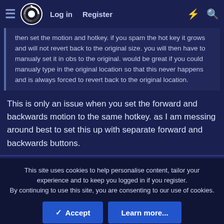Log in  Register
then set the motion and hotkey. if you spam the hot key it grows and will not revert back to the original size. you will then have to manualy set it in obs to the original. would be great if you could manualy type in the original location so that this never happens and is always forced to revert back to the original location.
This is only an issue when you set the forward and backwards motion to the same hotkey. as I am messing around best to set this up with separate forward and backwards buttons.
This site uses cookies to help personalise content, tailor your experience and to keep you logged in if you register.
By continuing to use this site, you are consenting to our use of cookies.